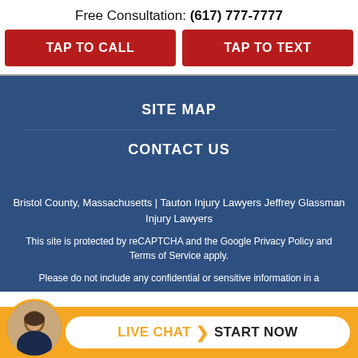Free Consultation: (617) 777-7777
TAP TO CALL
TAP TO TEXT
SITE MAP
CONTACT US
Bristol County, Massachusetts | Tauton Injury Lawyers Jeffrey Glassman Injury Lawyers
This site is protected by reCAPTCHA and the Google Privacy Policy and Terms of Service apply.
Please do not include any confidential or sensitive information in a
[Figure (infographic): Live chat bar at bottom with lawyer avatar photo, orange background, white pill-shaped button with LIVE CHAT and START NOW text]